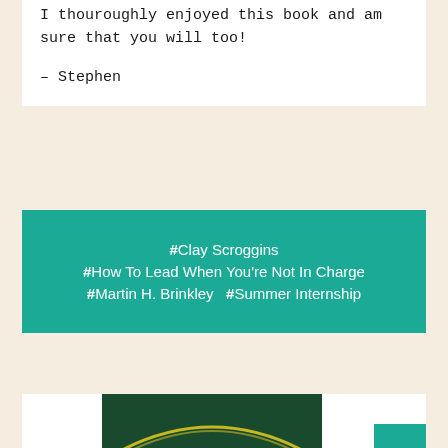I thouroughly enjoyed this book and am sure that you will too!
– Stephen
#Clay Scroggins #How To Lead When You're Not In Charge #Martin H. Brinkley #Summer Internship
[Figure (logo): Dark green book cover with yellow arc/logo element, partially visible at bottom of page]